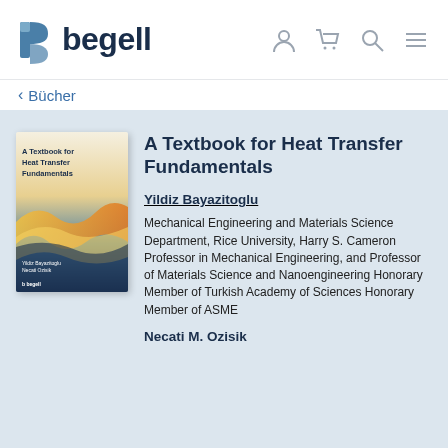[Figure (logo): Begell House publisher logo with stylized 'b' icon and 'begell' wordmark in dark navy]
< Bücher
[Figure (illustration): Book cover: A Textbook for Heat Transfer Fundamentals, showing golden wave/fluid design on blue-to-white gradient background, authored by Yildiz Bayazitoglu and Necati Ozisik, published by Begell]
A Textbook for Heat Transfer Fundamentals
Yildiz Bayazitoglu
Mechanical Engineering and Materials Science Department, Rice University, Harry S. Cameron Professor in Mechanical Engineering, and Professor of Materials Science and Nanoengineering Honorary Member of Turkish Academy of Sciences Honorary Member of ASME
Necati M. Ozisik